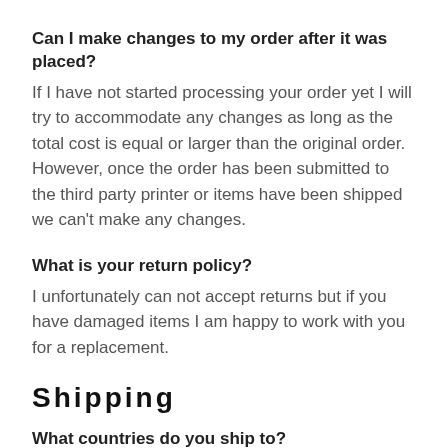Can I make changes to my order after it was placed?
If I have not started processing your order yet I will try to accommodate any changes as long as the total cost is equal or larger than the original order. However, once the order has been submitted to the third party printer or items have been shipped we can't make any changes.
What is your return policy?
I unfortunately can not accept returns but if you have damaged items I am happy to work with you for a replacement.
Shipping
What countries do you ship to?